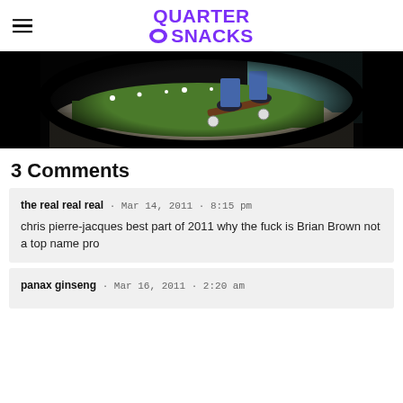QUARTER SNACKS
[Figure (photo): Skateboarder performing a trick on a curved concrete ledge with green grass and flowers in the background, fisheye lens photo]
3 Comments
the real real real · Mar 14, 2011 · 8:15 pm

chris pierre-jacques best part of 2011 why the fuck is Brian Brown not a top name pro
panax ginseng · Mar 16, 2011 · 2:20 am